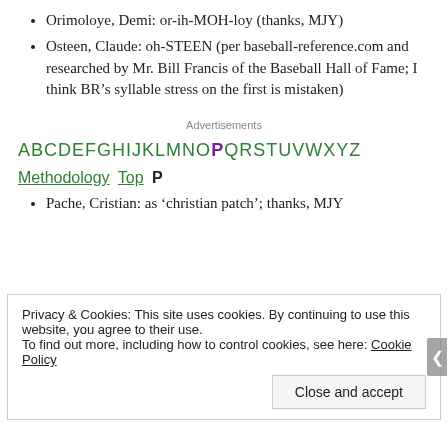Orimoloye, Demi: or-ih-MOH-loy (thanks, MJY)
Osteen, Claude: oh-STEEN (per baseball-reference.com and researched by Mr. Bill Francis of the Baseball Hall of Fame; I think BR’s syllable stress on the first is mistaken)
Advertisements
A B C D E F G H I J K L M N O P Q R S T U V W X Y Z Methodology Top P
Pache, Cristian: as ‘christian patch’; thanks, MJY
Privacy & Cookies: This site uses cookies. By continuing to use this website, you agree to their use. To find out more, including how to control cookies, see here: Cookie Policy
Close and accept